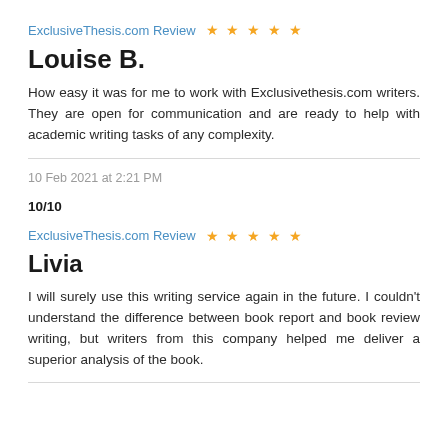ExclusiveThesis.com Review ★★★★★
Louise B.
How easy it was for me to work with Exclusivethesis.com writers. They are open for communication and are ready to help with academic writing tasks of any complexity.
10 Feb 2021 at 2:21 PM
10/10
ExclusiveThesis.com Review ★★★★★
Livia
I will surely use this writing service again in the future. I couldn't understand the difference between book report and book review writing, but writers from this company helped me deliver a superior analysis of the book.